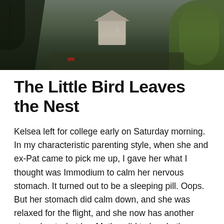[Figure (photo): Aerial or elevated photo of a neighborhood with trees, houses, and a road. Taken in early spring with bare and leafing trees visible. A white house is visible in the center background.]
The Little Bird Leaves the Nest
Kelsea left for college early on Saturday morning. In my characteristic parenting style, when she and ex-Pat came to pick me up, I gave her what I thought was Immodium to calm her nervous stomach. It turned out to be a sleeping pill. Oops. But her stomach did calm down, and she was relaxed for the flight, and she now has another story about what her Mother did to her. Let's see, there's the finger guillotine incident, the asparagus incident, the Icy Hot incident, the smoke detector incident, the birds at the zoo incident, the numerous incidents at Camp Lejeune…I could go on and on. At least she will have some classic